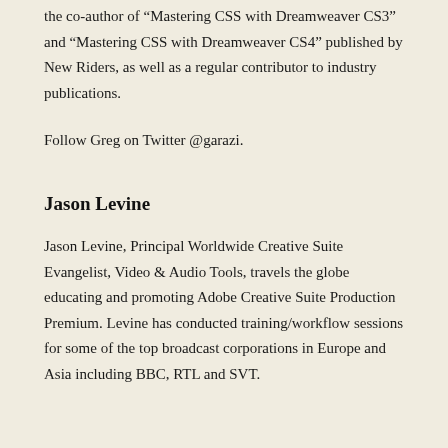the co-author of “Mastering CSS with Dreamweaver CS3” and “Mastering CSS with Dreamweaver CS4” published by New Riders, as well as a regular contributor to industry publications.
Follow Greg on Twitter @garazi.
Jason Levine
Jason Levine, Principal Worldwide Creative Suite Evangelist, Video & Audio Tools, travels the globe educating and promoting Adobe Creative Suite Production Premium. Levine has conducted training/workflow sessions for some of the top broadcast corporations in Europe and Asia including BBC, RTL and SVT.